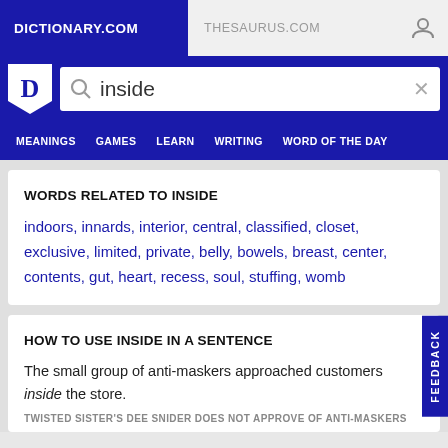DICTIONARY.COM   THESAURUS.COM
WORDS RELATED TO INSIDE
indoors, innards, interior, central, classified, closet, exclusive, limited, private, belly, bowels, breast, center, contents, gut, heart, recess, soul, stuffing, womb
HOW TO USE INSIDE IN A SENTENCE
The small group of anti-maskers approached customers inside the store.
TWISTED SISTER'S DEE SNIDER DOES NOT APPROVE OF ANTI-MASKERS